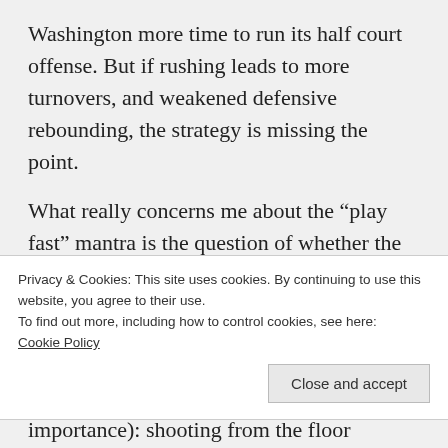Washington more time to run its half court offense. But if rushing leads to more turnovers, and weakened defensive rebounding, the strategy is missing the point.
What really concerns me about the “play fast” mantra is the question of whether the Wizards truly have a grasp on what’s important for a team to win. There’s a palpable feeling that they’re mimicking Golden State without a true understanding of
Privacy & Cookies: This site uses cookies. By continuing to use this website, you agree to their use.
To find out more, including how to control cookies, see here: Cookie Policy
importance): shooting from the floor